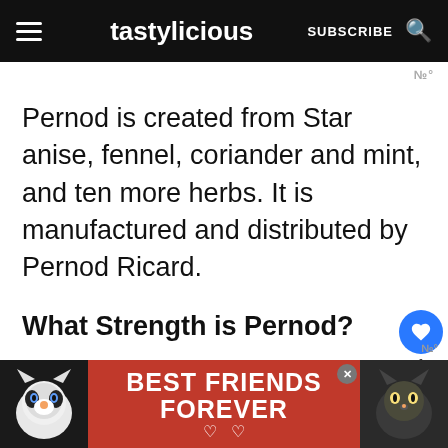tastylicious | SUBSCRIBE
Pernod is created from Star anise, fennel, coriander and mint, and ten more herbs. It is manufactured and distributed by Pernod Ricard.
What Strength is Pernod?
It has 40% alcohol by volume which means it contains a lot of alcohol. It's
[Figure (screenshot): What's Next promotional widget showing food image and text '7 Substitutes for HelloFre...']
[Figure (photo): Advertisement banner with two cats and text 'BEST FRIENDS FOREVER' with hearts on red background]